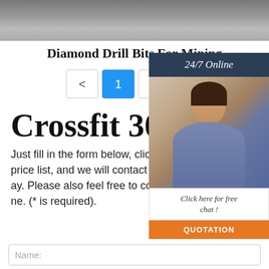[Figure (photo): Top portion of a product photo showing diamond drill bits on a gray/concrete background]
Diamond Drill Bits For Mining
Pagination: < 1 2 >
Crossfit 304 Typ
Just fill in the form below, click submit, you will get the price list, and we will contact you within one working day. Please also feel free to contact us via email or phone. (* is required).
[Figure (photo): Customer service agent overlay panel with '24/7 Online' banner, photo of smiling woman with headset, 'Click here for free chat!' text, and QUOTATION button]
Name: